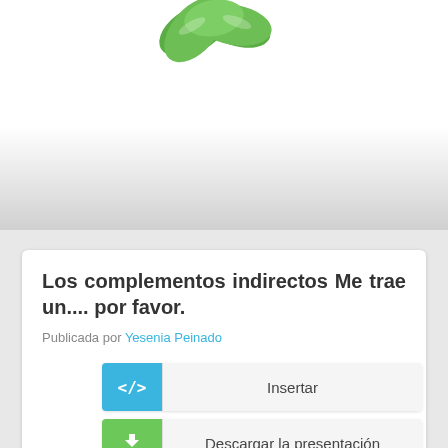[Figure (illustration): Decorative illustration of green leaves/plant emerging from torn paper at the top of the page]
Los complementos indirectos Me trae un.... por favor.
Publicada por Yesenia Peinado
Insertar
Descargar la presentación